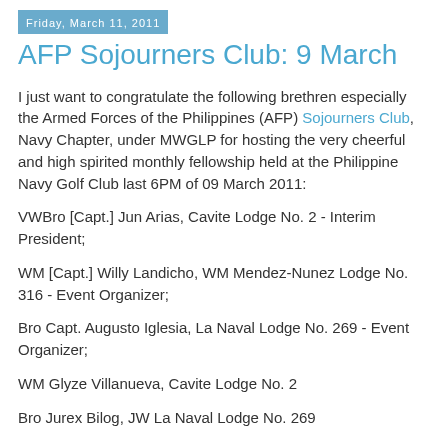Friday, March 11, 2011
AFP Sojourners Club: 9 March
I just want to congratulate the following brethren especially the Armed Forces of the Philippines (AFP) Sojourners Club, Navy Chapter, under MWGLP for hosting the very cheerful and high spirited monthly fellowship held at the Philippine Navy Golf Club last 6PM of 09 March 2011:
VWBro [Capt.] Jun Arias, Cavite Lodge No. 2 - Interim President;
WM [Capt.] Willy Landicho, WM Mendez-Nunez Lodge No. 316 - Event Organizer;
Bro Capt. Augusto Iglesia, La Naval Lodge No. 269 - Event Organizer;
WM Glyze Villanueva, Cavite Lodge No. 2
Bro Jurex Bilog, JW La Naval Lodge No. 269